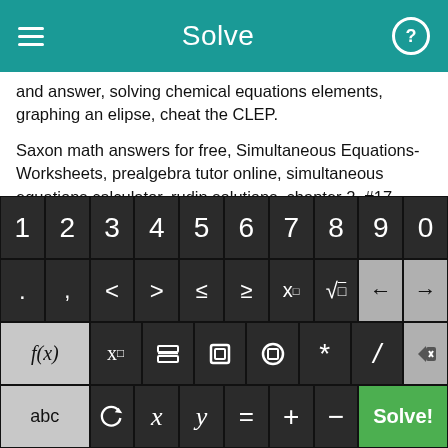Solve
and answer, solving chemical equations elements, graphing an elipse, cheat the CLEP.
Saxon math answers for free, Simultaneous Equations-Worksheets, prealgebra tutor online, simultaneous equations calculator, rudin solutions, chapter 2, #17, teaching scale factors.
Online polynomial factor calculator, Least Common Multiple. calculator, factoring quadratic equations on ti-83.
[Figure (screenshot): On-screen math keyboard with rows: digits 1-0, symbols (. , < > ≤ ≥ x^□ √□ back-arrow forward-arrow), functions (f(x) x_□ fraction absolute-value parentheses * / delete), and bottom row (abc rotate-icon x y = + - Solve! button)]